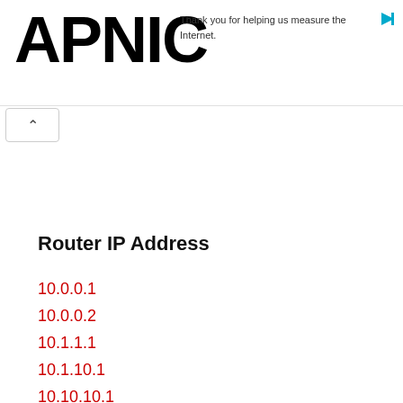APNIC — Thank you for helping us measure the Internet.
Router IP Address
10.0.0.1
10.0.0.2
10.1.1.1
10.1.10.1
10.10.10.1